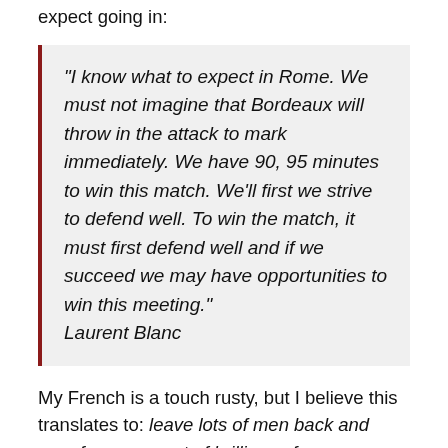expect going in:
“I know what to expect in Rome. We must not imagine that Bordeaux will throw in the attack to mark immediately. We have 90, 95 minutes to win this match. We’ll first we strive to defend well. To win the match, it must first defend well and if we succeed we may have opportunities to win this meeting.” Laurent Blanc
My French is a touch rusty, but I believe this translates to: leave lots of men back and pray for a moment of brilliance from Gourcuff.
Not wholly unlike Roma it should be said. Although swap out pray for a moment of brilliance from Gourcuff and insert wait for a moment of brilliance from [insert name here]. It could be Stamford Bridge, it could be...